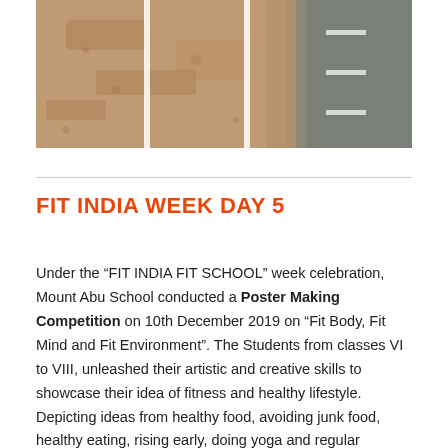[Figure (photo): Aerial or ground-level photo of a dirt track/sports field with white lane lines painted on the ground, and a dark tarmac/asphalt surface visible on the right side.]
FIT INDIA WEEK DAY 5
Under the “FIT INDIA FIT SCHOOL” week celebration, Mount Abu School conducted a Poster Making Competition on 10th December 2019 on “Fit Body, Fit Mind and Fit Environment”. The Students from classes VI to VIII, unleashed their artistic and creative skills to showcase their idea of fitness and healthy lifestyle. Depicting ideas from healthy food, avoiding junk food, healthy eating, rising early, doing yoga and regular exercise, the students presented their posters of fitness and good choices.